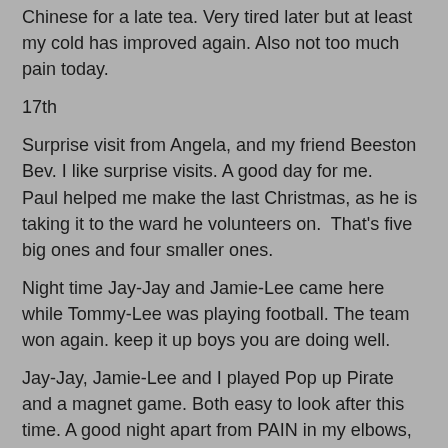Chinese for a late tea. Very tired later but at least my cold has improved again. Also not too much pain today.
17th
Surprise visit from Angela, and my friend Beeston Bev. I like surprise visits. A good day for me.
Paul helped me make the last Christmas, as he is taking it to the ward he volunteers on.  That's five big ones and four smaller ones.
Night time Jay-Jay and Jamie-Lee came here while Tommy-Lee was playing football. The team won again. keep it up boys you are doing well.
Jay-Jay, Jamie-Lee and I played Pop up Pirate and a magnet game. Both easy to look after this time. A good night apart from PAIN in my elbows, the right one was the worst. Shooting pains and just sheer PAIN everywhere, my bath helped plus a good helping of Tiger Balm..
18th